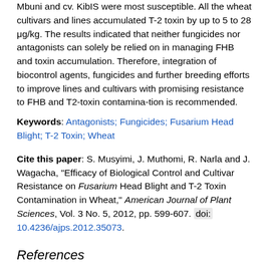Mbuni and cv. KibIS were most susceptible. All the wheat cultivars and lines accumulated T-2 toxin by up to 5 to 28 μg/kg. The results indicated that neither fungicides nor antagonists can solely be relied on in managing FHB and toxin accumulation. Therefore, integration of biocontrol agents, fungicides and further breeding efforts to improve lines and cultivars with promising resistance to FHB and T2-toxin contamina-tion is recommended.
Keywords: Antagonists; Fungicides; Fusarium Head Blight; T-2 Toxin; Wheat
Cite this paper: S. Musyimi, J. Muthomi, R. Narla and J. Wagacha, "Efficacy of Biological Control and Cultivar Resistance on Fusarium Head Blight and T-2 Toxin Contamination in Wheat," American Journal of Plant Sciences, Vol. 3 No. 5, 2012, pp. 599-607. doi: 10.4236/ajps.2012.35073.
References